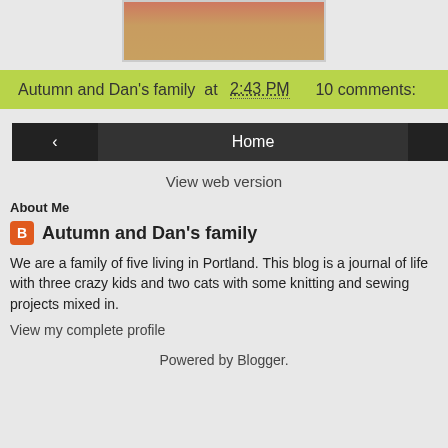[Figure (photo): Partial photo at top of page, cropped, showing warm tones]
Autumn and Dan's family at 2:43 PM   10 comments:
‹  Home  ›  View web version
About Me
Autumn and Dan's family
We are a family of five living in Portland. This blog is a journal of life with three crazy kids and two cats with some knitting and sewing projects mixed in.
View my complete profile
Powered by Blogger.